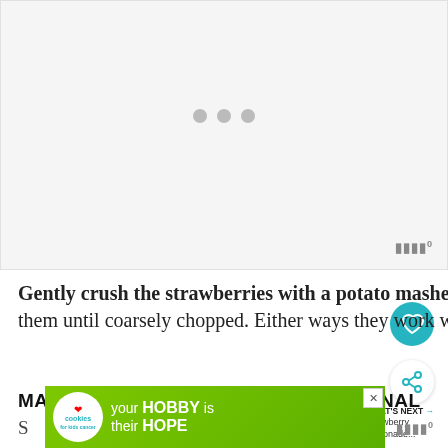[Figure (photo): Blank/loading image placeholder with three grey dots indicating content is still loading, with a Wunderbyte watermark logo in bottom right]
Gently crush the strawberries with a potato masher or use a food processor to process them until coarsely chopped. Either ways they work well.
MACERATE STRAWBERRIES  { OPTIONAL
S
[Figure (screenshot): Advertisement banner: 'your HOBBY is their HOPE' with cookies for kids cancer logo on green background]